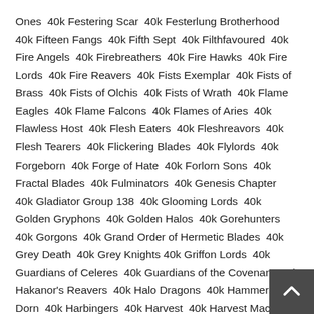Ones  40k Festering Scar  40k Festerlung Brotherhood  40k Fifteen Fangs  40k Fifth Sept  40k Filthfavoured  40k Fire Angels  40k Firebreathers  40k Fire Hawks  40k Fire Lords  40k Fire Reavers  40k Fists Exemplar  40k Fists of Brass  40k Fists of Olchis  40k Fists of Wrath  40k Flame Eagles  40k Flame Falcons  40k Flames of Aries  40k Flawless Host  40k Flesh Eaters  40k Fleshreavors  40k Flesh Tearers  40k Flickering Blades  40k Flylords  40k Forgeborn  40k Forge of Hate  40k Forlorn Sons  40k Fractal Blades  40k Fulminators  40k Genesis Chapter  40k Gladiator Group 138  40k Glooming Lords  40k Golden Gryphons  40k Golden Halos  40k Gorehunters  40k Gorgons  40k Grand Order of Hermetic Blades  40k Grey Death  40k Grey Knights  40k Griffon Lords  40k Guardians of Celeres  40k Guardians of the Covenant  40k Hakanor's Reavers  40k Halo Dragons  40k Hammers of Dorn  40k Harbingers  40k Harvest  40k Harvest Macabre  40k Hawk Lords  40k Hedonistarii  40k Helion Legion  40k Heralds of Despair  40k Heralds of Ultramar  40k Heralds of Vengeance  40k